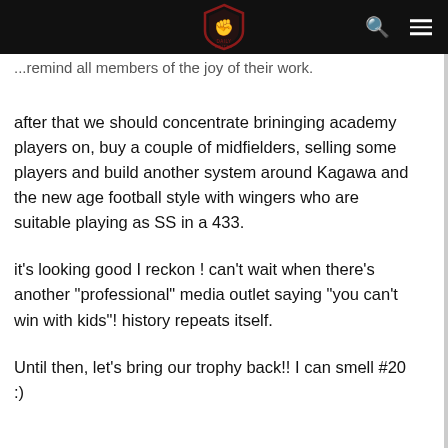[site logo and navigation bar with search and menu icons]
...remind all members of the joy of their work.
after that we should concentrate brininging academy players on, buy a couple of midfielders, selling some players and build another system around Kagawa and the new age football style with wingers who are suitable playing as SS in a 433.
it's looking good I reckon ! can't wait when there's another "professional" media outlet saying "you can't win with kids"! history repeats itself.
Until then, let's bring our trophy back!! I can smell #20 :)